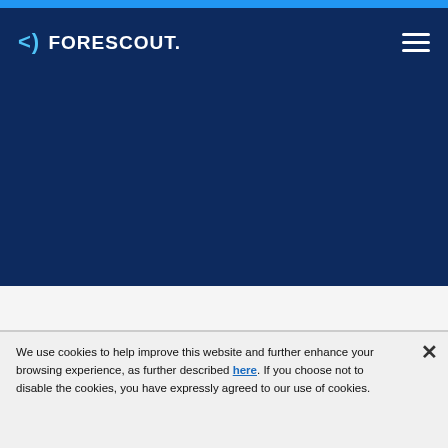<) FORESCOUT
[Figure (screenshot): Forescout website header with dark navy blue hero section background]
We use cookies to help improve this website and further enhance your browsing experience, as further described here. If you choose not to disable the cookies, you have expressly agreed to our use of cookies.